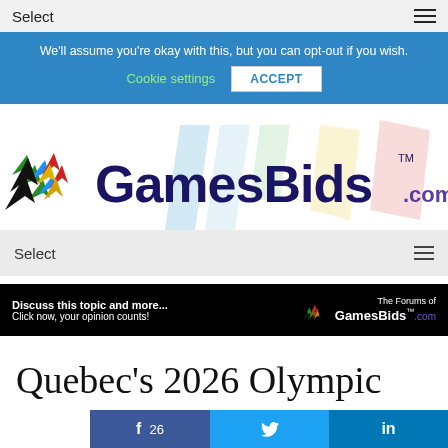Select
We'll assume you're okay with this, but you can opt-out if you wish. Cookie settings ACCEPT
[Figure (logo): GamesBids.com logo with colorful Olympic-style arrows/chevrons in blue, green, red, yellow on the left, and the text GamesBids.com in dark navy blue with TM mark]
Select
[Figure (infographic): Black banner ad: 'Discuss this topic and more... Click now, your opinion counts!' with GamesBids forum logo on the right]
Quebec's 2026 Olympic
f 26   (twitter bird icon)   in